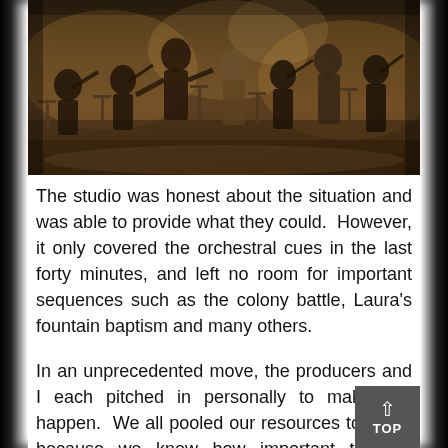[Figure (photo): Photograph of an orchestra rehearsal or recording session showing multiple musicians with string instruments (violins, cellos) seated with music stands in what appears to be a concert hall or recording studio.]
The studio was honest about the situation and was able to provide what they could.  However, it only covered the orchestral cues in the last forty minutes, and left no room for important sequences such as the colony battle, Laura's fountain baptism and many others.
In an unprecedented move, the producers and I each pitched in personally to make this happen.  We all pooled our resources together because we knew how important the full orchestra would be to Daybreak.  The orchestra you're hearing in this episode would not be there without the combined contributions and